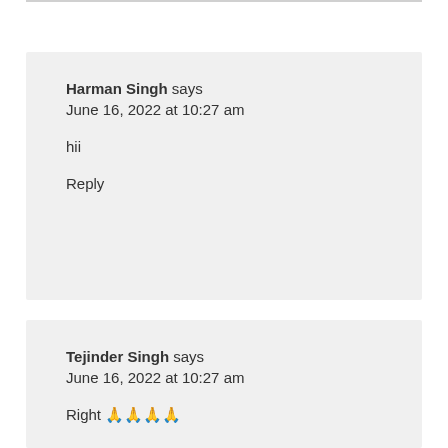Harman Singh says
June 16, 2022 at 10:27 am
hii
Reply
Tejinder Singh says
June 16, 2022 at 10:27 am
Right 🙏🙏🙏🙏